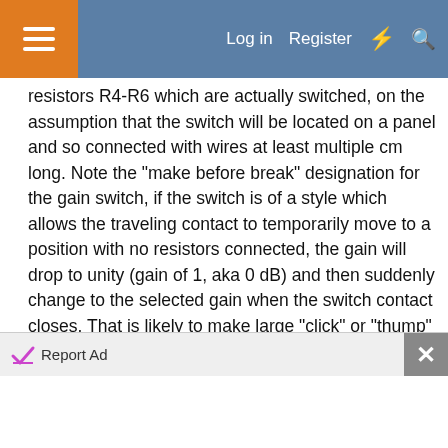Log in  Register
resistors R4-R6 which are actually switched, on the assumption that the switch will be located on a panel and so connected with wires at least multiple cm long. Note the "make before break" designation for the gain switch, if the switch is of a style which allows the traveling contact to temporarily move to a position with no resistors connected, the gain will drop to unity (gain of 1, aka 0 dB) and then suddenly change to the selected gain when the switch contact closes. That is likely to make large "click" or "thump" signals at the output. Even a make-before-break style switch might do that, but my assumption is that the disturbance will be less if the gain does not change to 1 suddenly. That assumption would need to be verified to make sure it is not actually worse sounding transitioning temporarily to
Report Ad